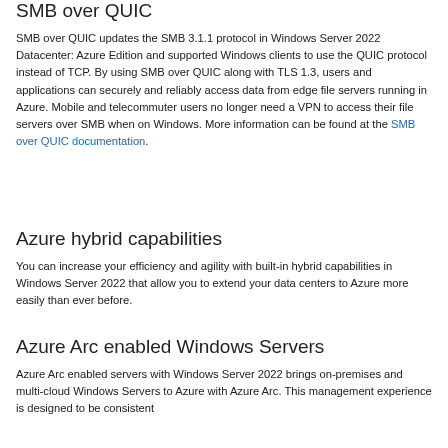SMB over QUIC
SMB over QUIC updates the SMB 3.1.1 protocol in Windows Server 2022 Datacenter: Azure Edition and supported Windows clients to use the QUIC protocol instead of TCP. By using SMB over QUIC along with TLS 1.3, users and applications can securely and reliably access data from edge file servers running in Azure. Mobile and telecommuter users no longer need a VPN to access their file servers over SMB when on Windows. More information can be found at the SMB over QUIC documentation.
Azure hybrid capabilities
You can increase your efficiency and agility with built-in hybrid capabilities in Windows Server 2022 that allow you to extend your data centers to Azure more easily than ever before.
Azure Arc enabled Windows Servers
Azure Arc enabled servers with Windows Server 2022 brings on-premises and multi-cloud Windows Servers to Azure with Azure Arc. This management experience is designed to be consistent